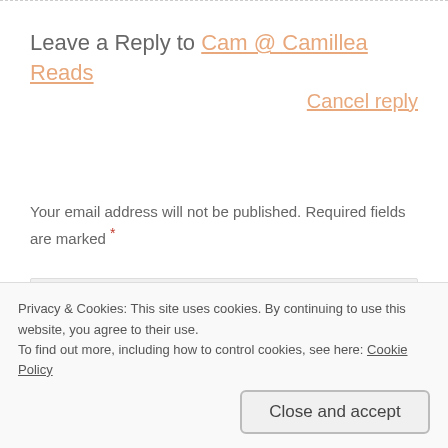Leave a Reply to Cam @ Camillea Reads   Cancel reply
Your email address will not be published. Required fields are marked *
[Figure (screenshot): Comment form input area with label COMMENT *]
Privacy & Cookies: This site uses cookies. By continuing to use this website, you agree to their use. To find out more, including how to control cookies, see here: Cookie Policy
Close and accept